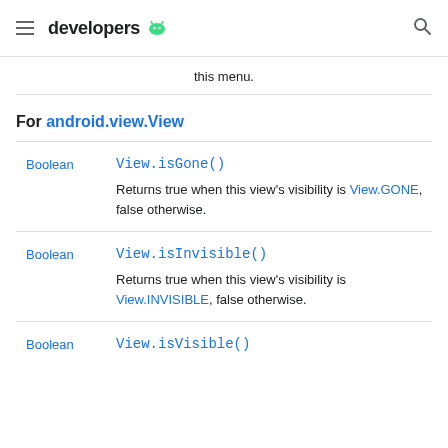developers
this menu.
For android.view.View
Boolean   View.isGone()
Returns true when this view's visibility is View.GONE, false otherwise.
Boolean   View.isInvisible()
Returns true when this view's visibility is View.INVISIBLE, false otherwise.
Boolean   View.isVisible()